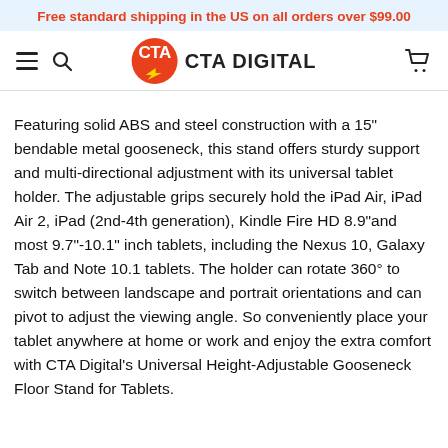Free standard shipping in the US on all orders over $99.00
[Figure (logo): CTA Digital logo with red circle containing 'CTA' text and yellow lightning bolt, next to 'CTA DIGITAL' text]
Featuring solid ABS and steel construction with a 15" bendable metal gooseneck, this stand offers sturdy support and multi-directional adjustment with its universal tablet holder. The adjustable grips securely hold the iPad Air, iPad Air 2, iPad (2nd-4th generation), Kindle Fire HD 8.9"and most 9.7"-10.1" inch tablets, including the Nexus 10, Galaxy Tab and Note 10.1 tablets. The holder can rotate 360° to switch between landscape and portrait orientations and can pivot to adjust the viewing angle. So conveniently place your tablet anywhere at home or work and enjoy the extra comfort with CTA Digital's Universal Height-Adjustable Gooseneck Floor Stand for Tablets.